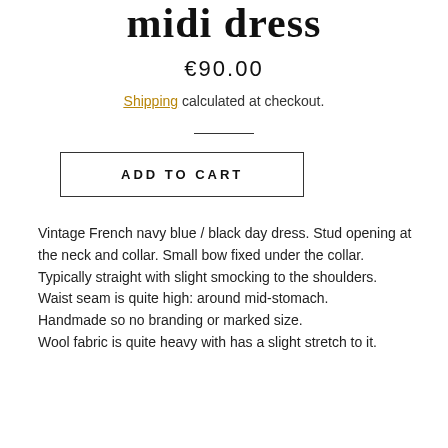midi dress
€90.00
Shipping calculated at checkout.
ADD TO CART
Vintage French navy blue / black day dress. Stud opening at the neck and collar. Small bow fixed under the collar.
Typically straight with slight smocking to the shoulders.
Waist seam is quite high: around mid-stomach.
Handmade so no branding or marked size.
Wool fabric is quite heavy with has a slight stretch to it.